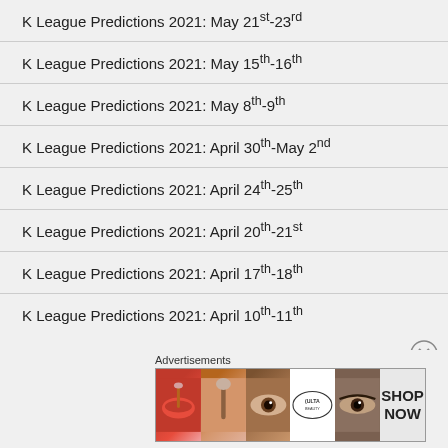K League Predictions 2021: May 21st-23rd
K League Predictions 2021: May 15th-16th
K League Predictions 2021: May 8th-9th
K League Predictions 2021: April 30th-May 2nd
K League Predictions 2021: April 24th-25th
K League Predictions 2021: April 20th-21st
K League Predictions 2021: April 17th-18th
K League Predictions 2021: April 10th-11th
Advertisements
[Figure (photo): Ulta Beauty advertisement banner showing makeup photos including lipstick, brushes, eye makeup, and Ulta logo with SHOP NOW text]